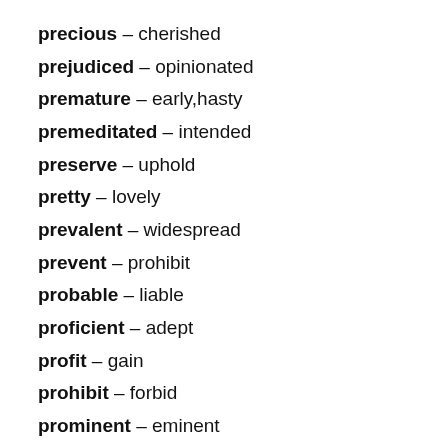precious – cherished
prejudiced – opinionated
premature – early,hasty
premeditated – intended
preserve – uphold
pretty – lovely
prevalent – widespread
prevent – prohibit
probable – liable
proficient – adept
profit – gain
prohibit – forbid
prominent – eminent
prompt – punctual
prosperous – successful
proud – elated
push – shove,propel